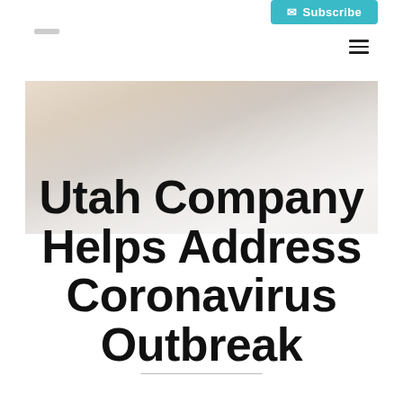Subscribe
[Figure (photo): Hero image background showing hands or documents, light beige and grey tones]
Utah Company Helps Address Coronavirus Outbreak